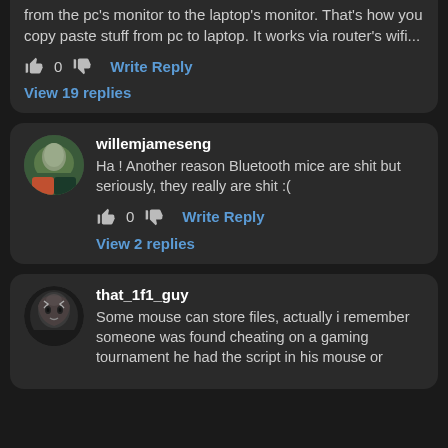from the pc's monitor to the laptop's monitor. That's how you copy paste stuff from pc to laptop. It works via router's wifi...
0  Write Reply
View 19 replies
willemjameseng
Ha ! Another reason Bluetooth mice are shit but seriously, they really are shit :(
0  Write Reply
View 2 replies
that_1f1_guy
Some mouse can store files, actually i remember someone was found cheating on a gaming tournament he had the script in his mouse or